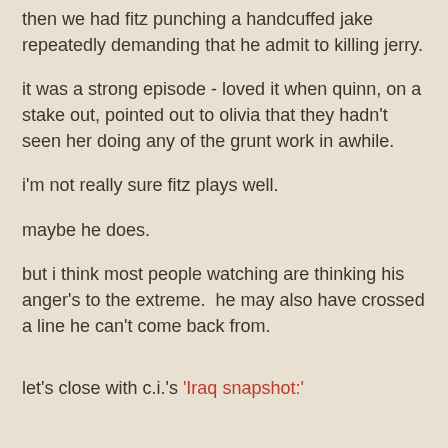then we had fitz punching a handcuffed jake repeatedly demanding that he admit to killing jerry.
it was a strong episode - loved it when quinn, on a stake out, pointed out to olivia that they hadn't seen her doing any of the grunt work in awhile.
i'm not really sure fitz plays well.
maybe he does.
but i think most people watching are thinking his anger's to the extreme.  he may also have crossed a line he can't come back from.
let's close with c.i.'s 'Iraq snapshot:'